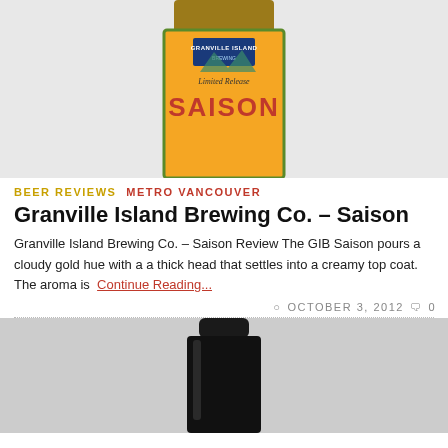[Figure (photo): Beer bottle with Granville Island Brewing Saison label, orange label with Limited Release text, partially cropped at top]
BEER REVIEWS  METRO VANCOUVER
Granville Island Brewing Co. – Saison
Granville Island Brewing Co. – Saison Review The GIB Saison pours a cloudy gold hue with a a thick head that settles into a creamy top coat. The aroma is  Continue Reading...
OCTOBER 3, 2012  0
[Figure (photo): Dark beer bottle against light grey background, showing upper portion of bottle with dark/black glass]